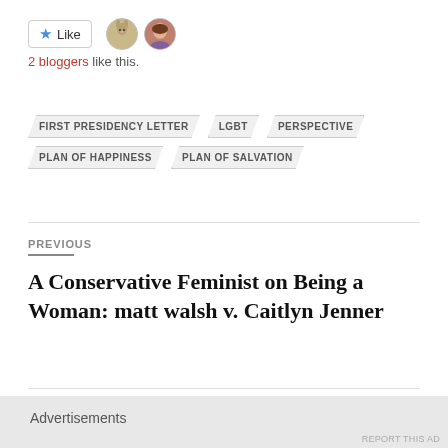[Figure (other): Like button with star icon and two user avatar thumbnails]
2 bloggers like this.
FIRST PRESIDENCY LETTER   LGBT   PERSPECTIVE   PLAN OF HAPPINESS   PLAN OF SALVATION
PREVIOUS
A Conservative Feminist on Being a Woman: matt walsh v. Caitlyn Jenner
NEXT
Advertisements
REPORT THIS AD